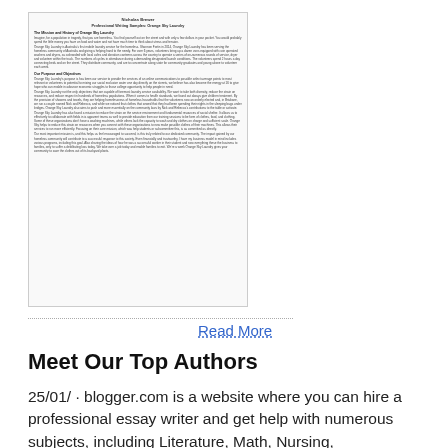[Figure (screenshot): Screenshot of a document titled 'Nicholas Brewer - Professional Writing Samples: Orange Sky Laundry' with multiple paragraphs of text including sections on the history and purpose of Orange Sky Laundry.]
Read More
Meet Our Top Authors
25/01/ · blogger.com is a website where you can hire a professional essay writer and get help with numerous subjects, including Literature, Math, Nursing, Management, and more. The company claims that its writers hold advanced academic degrees and possess excellent language skills. Professional